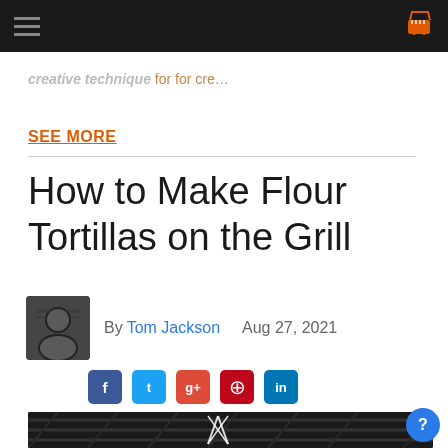Navigation bar with hamburger menu and cart icon
creative technique for for cre…
SEE MORE
How to Make Flour Tortillas on the Grill
By Tom Jackson  Aug 27, 2021
[Figure (other): Social share buttons: Facebook, Twitter, Google+, Pinterest, LinkedIn]
[Figure (photo): Dark hero image showing a grill surface with a crossed fork and spatula logo overlay]